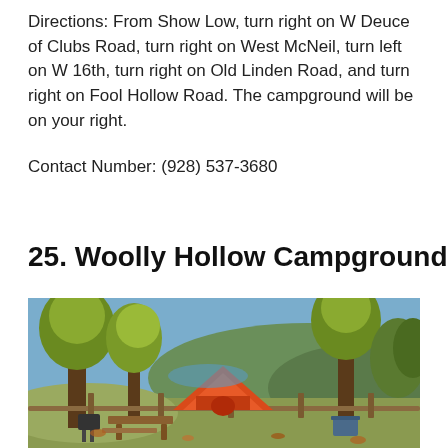Directions: From Show Low, turn right on W Deuce of Clubs Road, turn right on West McNeil, turn left on W 16th, turn right on Old Linden Road, and turn right on Fool Hollow Road. The campground will be on your right.
Contact Number: (928) 537-3680
25. Woolly Hollow Campground
[Figure (photo): Outdoor campground scene with an orange dome tent set up among trees with autumn foliage. A picnic table and grill are visible in the foreground. A wooden fence rail runs across the scene. The background shows a hillside with trees and a glimpse of water or sky.]